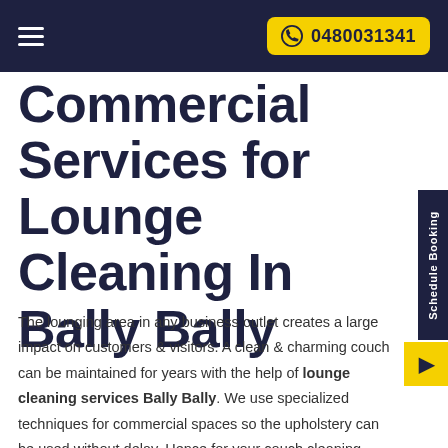0480031341
Commercial Services for Lounge Cleaning In Bally Bally
The lounging area in any business outlet creates a large impact on customers & visitors. A clean & charming couch can be maintained for years with the help of lounge cleaning services Bally Bally. We use specialized techniques for commercial spaces so the upholstery can be used without delay. Hence for your couch cleaning needs get in touch with our skilled team without ado.